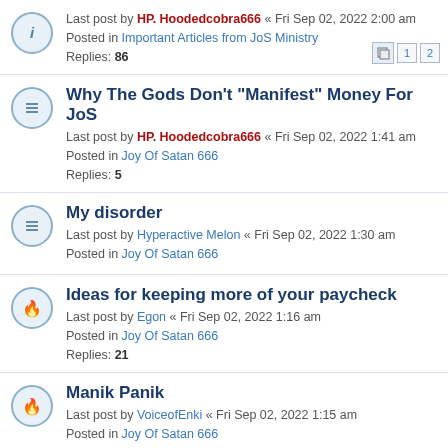Last post by HP. Hoodedcobra666 « Fri Sep 02, 2022 2:00 am
Posted in Important Articles from JoS Ministry
Replies: 86
Why The Gods Don't "Manifest" Money For JoS
Last post by HP. Hoodedcobra666 « Fri Sep 02, 2022 1:41 am
Posted in Joy Of Satan 666
Replies: 5
My disorder
Last post by Hyperactive Melon « Fri Sep 02, 2022 1:30 am
Posted in Joy Of Satan 666
Ideas for keeping more of your paycheck
Last post by Egon « Fri Sep 02, 2022 1:16 am
Posted in Joy Of Satan 666
Replies: 21
Manik Panik
Last post by VoiceofEnki « Fri Sep 02, 2022 1:15 am
Posted in Joy Of Satan 666